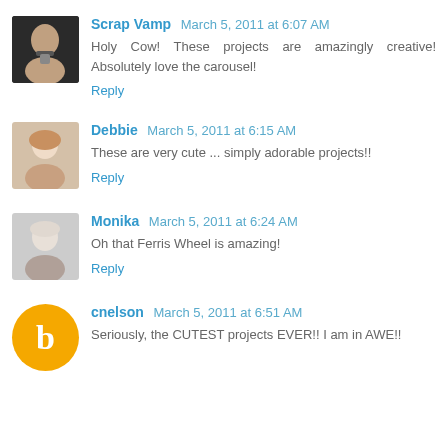Scrap Vamp  March 5, 2011 at 6:07 AM
Holy Cow! These projects are amazingly creative! Absolutely love the carousel!
Reply
Debbie  March 5, 2011 at 6:15 AM
These are very cute ... simply adorable projects!!
Reply
Monika  March 5, 2011 at 6:24 AM
Oh that Ferris Wheel is amazing!
Reply
cnelson  March 5, 2011 at 6:51 AM
Seriously, the CUTEST projects EVER!! I am in AWE!!